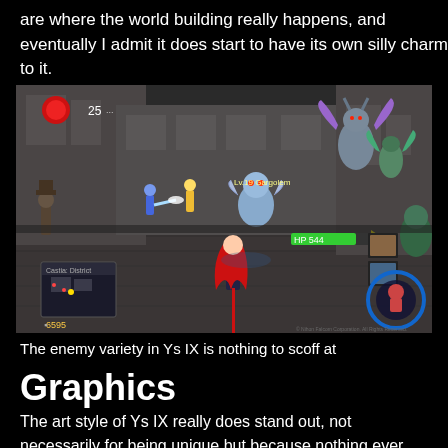are where the world building really happens, and eventually I admit it does start to have its own silly charm to it.
[Figure (screenshot): A gameplay screenshot from Ys IX showing multiple characters and enemies battling in a dark stone city environment. Various enemy creatures including a large dragon-winged monster are visible. HUD elements including a minimap, health bar and ability icons are shown.]
The enemy variety in Ys IX is nothing to scoff at
Graphics
The art style of Ys IX really does stand out, not necessarily for being unique but because nothing ever detracts or feels